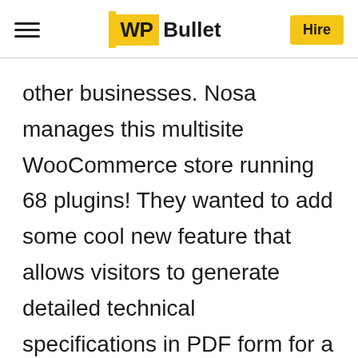WP Bullet | Hire
other businesses. Nosa manages this multisite WooCommerce store running 68 plugins! They wanted to add some cool new feature that allows visitors to generate detailed technical specifications in PDF form for a group of … Learn more…